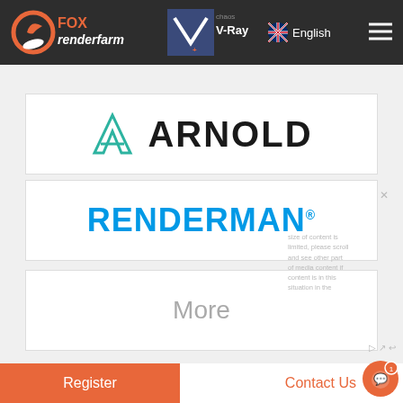FOX renderfarm | chaos V-Ray | English
[Figure (logo): Arnold renderer logo with teal A icon and ARNOLD text]
[Figure (logo): RenderMan logo in blue bold text]
More
Register
Contact Us